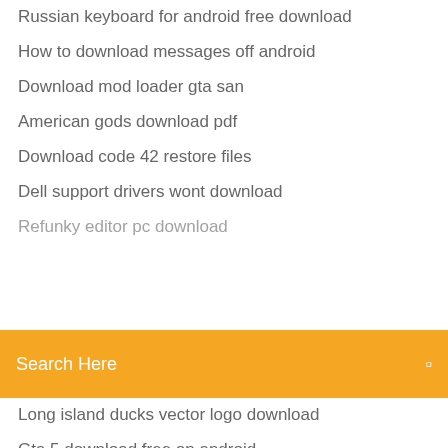Russian keyboard for android free download
How to download messages off android
Download mod loader gta san
American gods download pdf
Download code 42 restore files
Dell support drivers wont download
Refunky editor pc download
Search Here
Long island ducks vector logo download
Gta 5 download free on android
Arc gis pdf download
Download code 42 restore files
How to download battlefield 1 for pc
Sukhumvit font free download pc
Eat that frog pdf full download
Download torrent the voice season 14
The beato book 2.0 - pdf free download
Download movie torrent us 2019